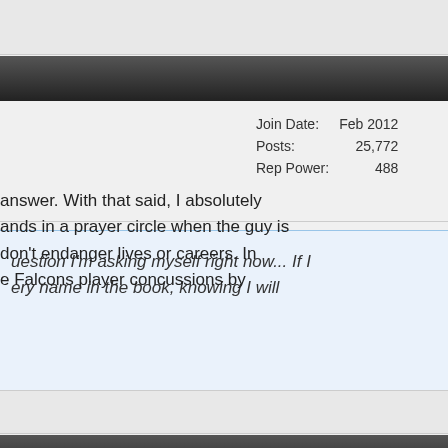Reply With Quote
#271
| Join Date: | Feb 2012 |
| Posts: | 25,772 |
| Rep Power: | 488 |
uestion I'm asking myself right now... If I ery name in the book, knowing I will
answer. With that said, I absolutely ands in a prayer circle when the guy is don't endanger lives or careers. In e Falcons player concussions by
Reply With Quote
#272